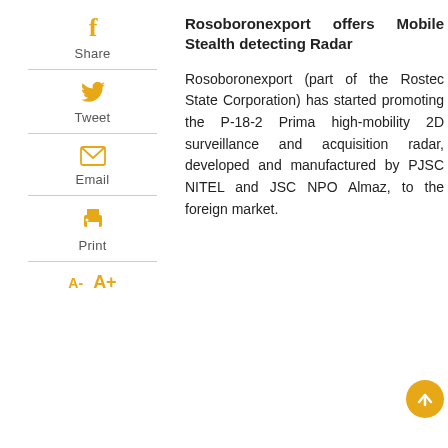[Figure (other): Facebook Share icon with label]
[Figure (other): Twitter Tweet icon with label]
[Figure (other): Email icon with label]
[Figure (other): Print icon with label]
[Figure (other): Font size controls A- A+]
Rosoboronexport offers Mobile Stealth detecting Radar
Rosoboronexport (part of the Rostec State Corporation) has started promoting the P-18-2 Prima high-mobility 2D surveillance and acquisition radar, developed and manufactured by PJSC NITEL and JSC NPO Almaz, to the foreign market.